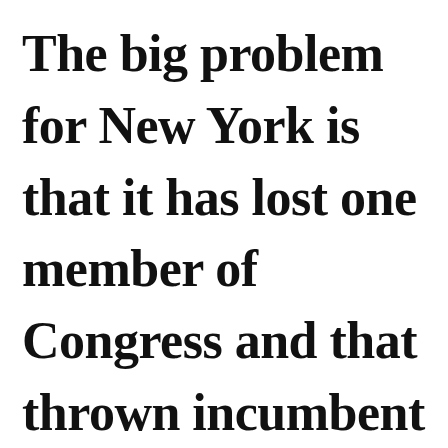The big problem for New York is that it has lost one member of Congress and that thrown incumbent members against